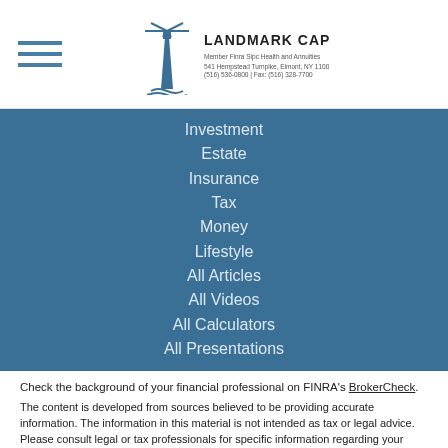Landmark Capital, Inc.
Investment
Estate
Insurance
Tax
Money
Lifestyle
All Articles
All Videos
All Calculators
All Presentations
Check the background of your financial professional on FINRA's BrokerCheck.
The content is developed from sources believed to be providing accurate information. The information in this material is not intended as tax or legal advice. Please consult legal or tax professionals for specific information regarding your individual situation. Some of this material was developed and produced by FMG Suite to provide information on a topic that may be of interest. FMG Suite is not affiliated with the named representative, broker - dealer, state - or SEC - registered investment advisory firm. The opinions expressed and material provided are for general information, and should not be considered a solicitation for the purchase or